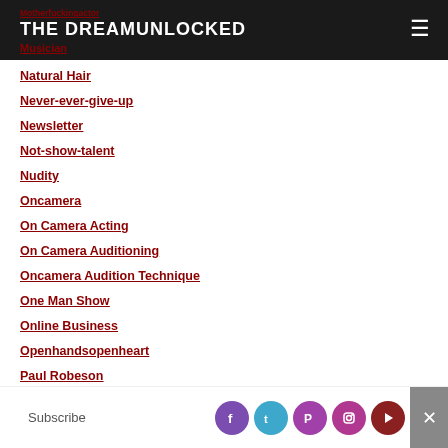THE DREAMUNLOCKED / Musician
Natural Hair
Never-ever-give-up
Newsletter
Not-show-talent
Nudity
Oncamera
On Camera Acting
On Camera Auditioning
Oncamera Audition Technique
One Man Show
Online Business
Openhandsopenheart
Paul Robeson
Period Work
Subscribe